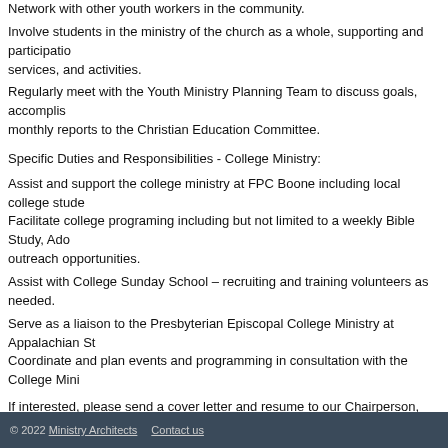Network with other youth workers in the community.
Involve students in the ministry of the church as a whole, supporting and participating in worship services, and activities.
Regularly meet with the Youth Ministry Planning Team to discuss goals, accomplishments and monthly reports to the Christian Education Committee.
Specific Duties and Responsibilities - College Ministry:
Assist and support the college ministry at FPC Boone including local college students.
Facilitate college programing including but not limited to a weekly Bible Study, Adopt-a-student, outreach opportunities.
Assist with College Sunday School – recruiting and training volunteers as needed.
Serve as a liaison to the Presbyterian Episcopal College Ministry at Appalachian State University.
Coordinate and plan events and programming in consultation with the College Ministry.
If interested, please send a cover letter and resume to our Chairperson, Mrs. Meliss... First Presbyterian Church Boone: www.firstpresboone.org
First Presbyterian Church
FPC is a 300+ member congregation centered in the beautiful mountains of Boone... community of faith, hope, love, and witness seeking to glorify God in all that we do... serves one another and the members of our community. We strive to know God an... study, fellowship, and service.
© 2022 Ministry Architects    Contact us